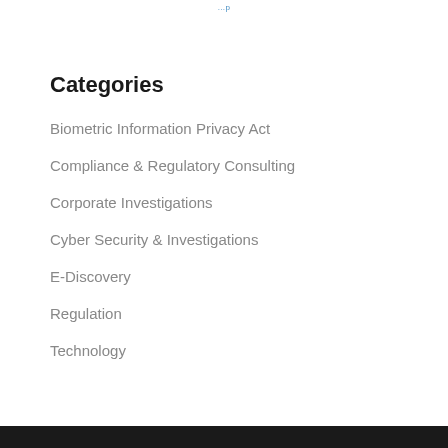...p
Categories
Biometric Information Privacy Act
Compliance & Regulatory Consulting
Corporate Investigations
Cyber Security & Investigations
E-Discovery
Regulation
Technology